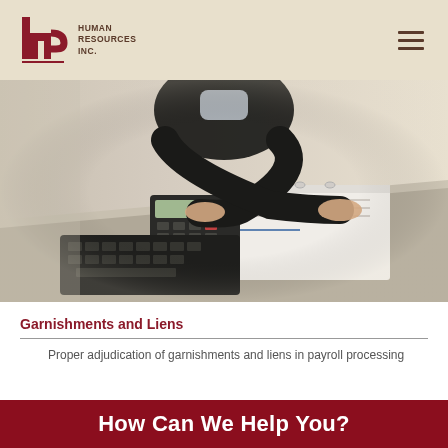Human Resources Inc.
[Figure (photo): Business professional in dark suit using a calculator and reviewing documents/binder on a desk, viewed from above at an angle.]
Garnishments and Liens
Proper adjudication of garnishments and liens in payroll processing
How Can We Help You?